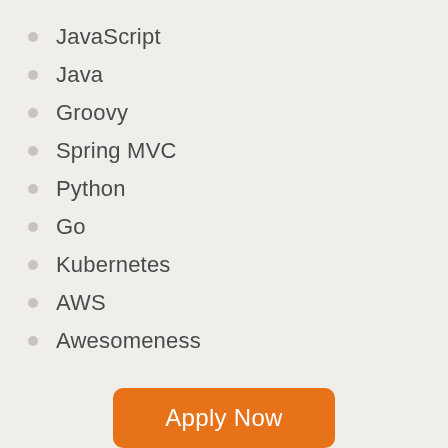JavaScript
Java
Groovy
Spring MVC
Python
Go
Kubernetes
AWS
Awesomeness
Apply Now